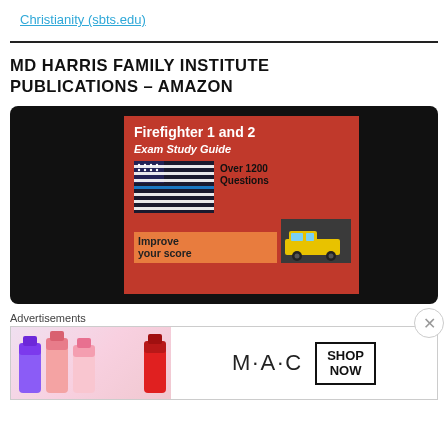Christianity (sbts.edu)
MD HARRIS FAMILY INSTITUTE PUBLICATIONS – AMAZON
[Figure (photo): Book cover displayed on a tablet/laptop screen with black background. The book is 'Firefighter 1 and 2 Exam Study Guide' with over 1200 questions, featuring a thin blue line American flag and a fire truck image. Red and orange cover with white text.]
Advertisements
[Figure (photo): MAC cosmetics advertisement banner showing colorful lipsticks on left side, MAC brand name in center, and a 'SHOP NOW' button box on the right side.]